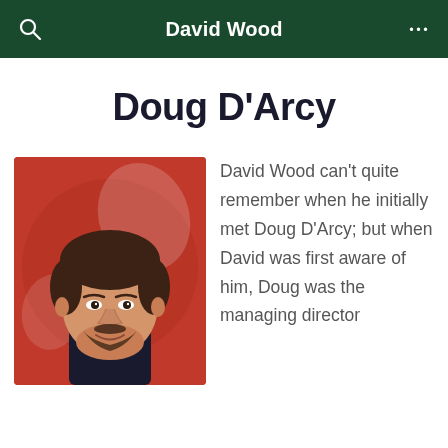David Wood
Doug D'Arcy
[Figure (photo): Portrait photo of Doug D'Arcy, a middle-aged man with dark hair and beard, wearing a dark jacket, set against a red circular background.]
David Wood can't quite remember when he initially met Doug D'Arcy; but when David was first aware of him, Doug was the managing director